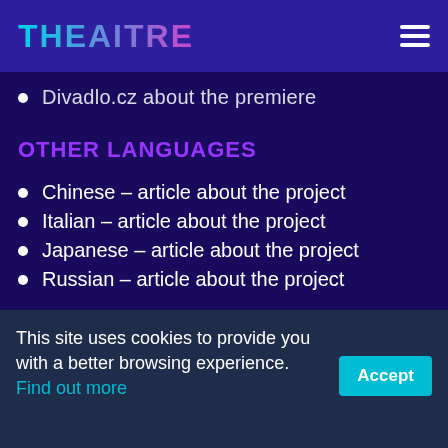THEAITRE
Divadlo.cz about the premiere
OTHER LANGUAGES
Chinese – article about the project
Italian – article about the project
Japanese – article about the project
Russian – article about the project
[Figure (photo): Partial photo strip showing building windows with warm orange/yellow interior lighting against a dark background]
This site uses cookies to provide you with a better browsing experience. Find out more Accept